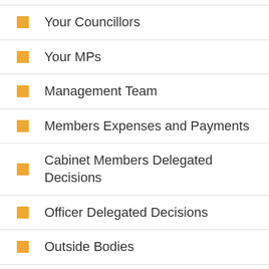Your Councillors
Your MPs
Management Team
Members Expenses and Payments
Cabinet Members Delegated Decisions
Officer Delegated Decisions
Outside Bodies
Parish Councils